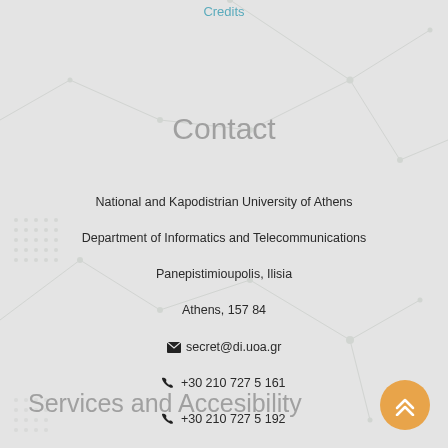Credits
Contact
National and Kapodistrian University of Athens
Department of Informatics and Telecommunications
Panepistimioupolis, Ilisia
Athens, 157 84
✉ secret@di.uoa.gr
📞 +30 210 727 5 161
📞 +30 210 727 5 192
Services and Accesibility